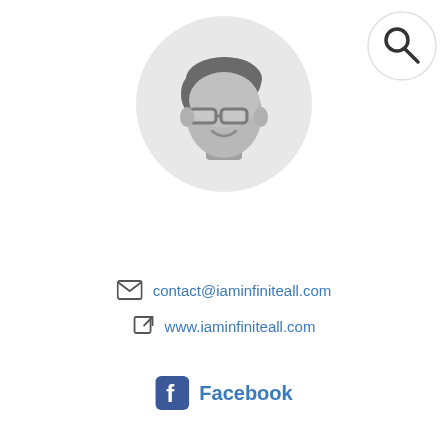[Figure (illustration): Cartoon avatar of a person with glasses wearing a grey shirt, shown inside a light grey circle background]
[Figure (illustration): Search icon (magnifying glass) in a white circular button in the top-right corner]
contact@iaminfiniteall.com
www.iaminfiniteall.com
Facebook